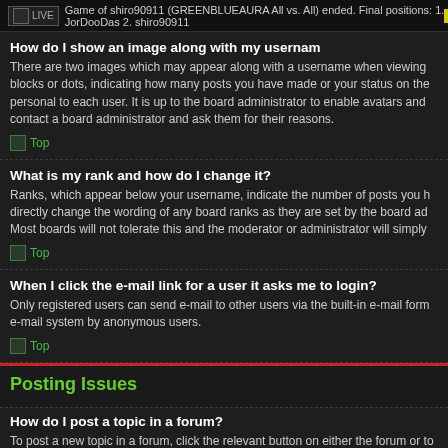LIVE Game of shiro90911 (GREENBLUEAURA All vs. All) ended. Final positions: 1. JorDooDas 2. shiro90911 NOT LOGGED IN LOGIN
How do I show an image along with my username?
There are two images which may appear along with a username when viewing blocks or dots, indicating how many posts you have made or your status on the personal to each user. It is up to the board administrator to enable avatars and contact a board administrator and ask them for their reasons.
Top
What is my rank and how do I change it?
Ranks, which appear below your username, indicate the number of posts you h directly change the wording of any board ranks as they are set by the board ad Most boards will not tolerate this and the moderator or administrator will simply
Top
When I click the e-mail link for a user it asks me to login?
Only registered users can send e-mail to other users via the built-in e-mail form e-mail system by anonymous users.
Top
Posting Issues
How do I post a topic in a forum?
To post a new topic in a forum, click the relevant button on either the forum or to permissions in each forum is available at the bottom of the forum and topic scre